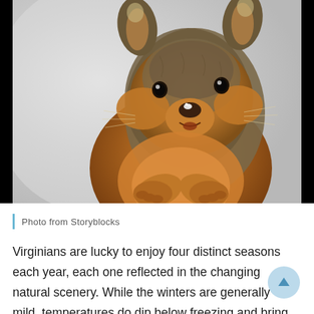[Figure (photo): Close-up photo of a fox squirrel facing the camera with a snowy white background. The squirrel has orange-brown fur on its belly and grey-brown fur on its back, small furry ears with light tips, and is holding its paws together in front of its chest. There is a tiny bit of snow on its nose.]
Photo from Storyblocks
Virginians are lucky to enjoy four distinct seasons each year, each one reflected in the changing natural scenery. While the winters are generally mild, temperatures do dip below freezing and bring the